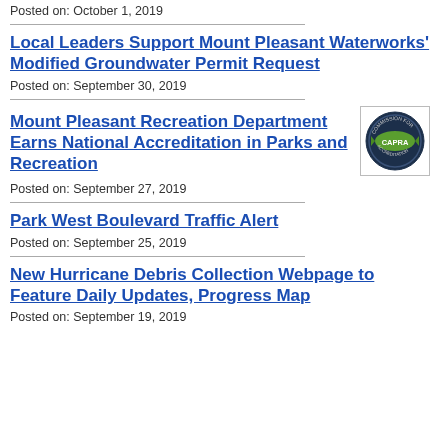Posted on: October 1, 2019
Local Leaders Support Mount Pleasant Waterworks' Modified Groundwater Permit Request
Posted on: September 30, 2019
Mount Pleasant Recreation Department Earns National Accreditation in Parks and Recreation
[Figure (logo): CAPRA accreditation badge/seal logo]
Posted on: September 27, 2019
Park West Boulevard Traffic Alert
Posted on: September 25, 2019
New Hurricane Debris Collection Webpage to Feature Daily Updates, Progress Map
Posted on: September 19, 2019